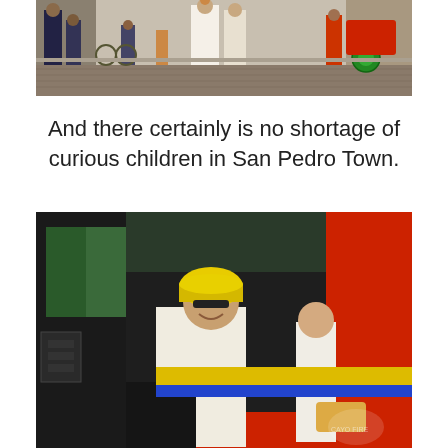[Figure (photo): Street scene photo showing a wedding couple (bride in white dress) standing on a cobblestone street with bystanders, bicycles, and a rickshaw visible in the background]
And there certainly is no shortage of curious children in San Pedro Town.
[Figure (photo): Photo of a person wearing a yellow firefighter helmet sitting in the driver's seat of a red fire truck, smiling at the camera. A bride in white is visible in the background passenger seat. The fire truck has red body with yellow and blue stripes.]